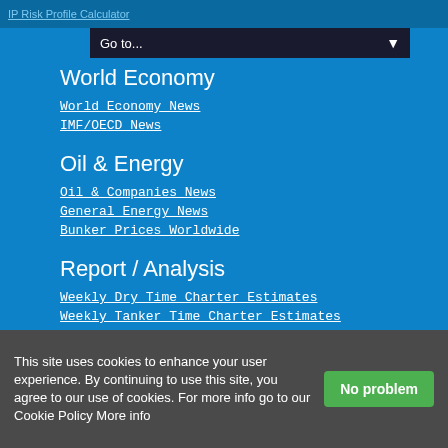Go to...
World Economy
World Economy News
IMF/OECD News
Oil & Energy
Oil & Companies News
General Energy News
Bunker Prices Worldwide
Report / Analysis
Weekly Dry Time Charter Estimates
Weekly Tanker Time Charter Estimates
Weekly Container Reports Index
Weekly Vessel Valuations Report
Daily Tanker Market Rates
Daily Bunker Report
This site uses cookies to enhance your user experience. By continuing to use this site, you agree to our use of cookies. For more info go to our Cookie Policy More info